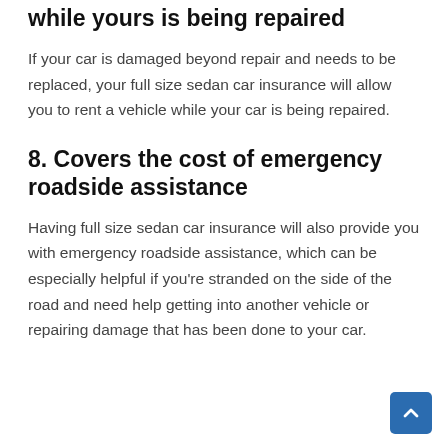7. Provides coverage for rental cars while yours is being repaired
If your car is damaged beyond repair and needs to be replaced, your full size sedan car insurance will allow you to rent a vehicle while your car is being repaired.
8. Covers the cost of emergency roadside assistance
Having full size sedan car insurance will also provide you with emergency roadside assistance, which can be especially helpful if you’re stranded on the side of the road and need help getting into another vehicle or repairing damage that has been done to your car.